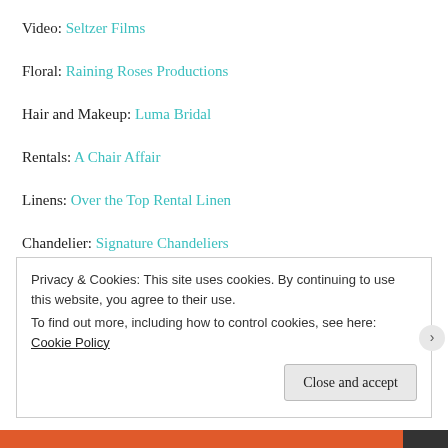Video: Seltzer Films
Floral: Raining Roses Productions
Hair and Makeup: Luma Bridal
Rentals: A Chair Affair
Linens: Over the Top Rental Linen
Chandelier: Signature Chandeliers
Privacy & Cookies: This site uses cookies. By continuing to use this website, you agree to their use.
To find out more, including how to control cookies, see here: Cookie Policy
Close and accept